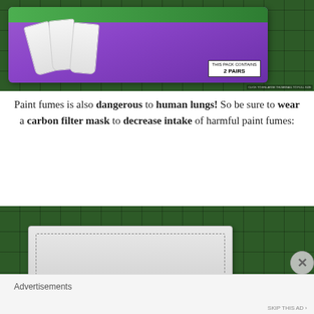[Figure (photo): Purple packaged disposable gloves (2 pairs) on a green cutting mat background]
Paint fumes is also dangerous to human lungs! So be sure to wear a carbon filter mask to decrease intake of harmful paint fumes:
[Figure (photo): Carbon filter mask laid flat on a green cutting mat]
Advertisements